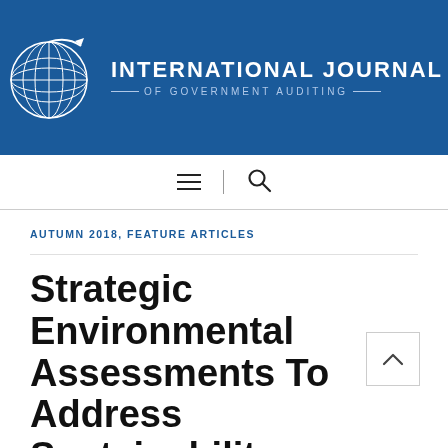[Figure (logo): International Journal of Government Auditing logo — globe icon with grid lines and text]
INTERNATIONAL JOURNAL OF GOVERNMENT AUDITING
AUTUMN 2018, FEATURE ARTICLES
Strategic Environmental Assessments To Address Sustainability